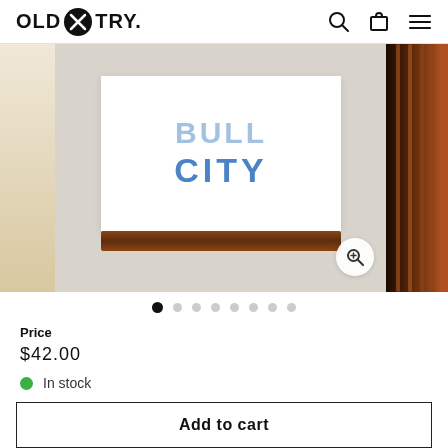OLD TRY.
[Figure (photo): Product photo carousel showing a white print with 'BULL CITY' text in blue letters mounted on a dark wood rail, displayed on a white brick wall background. Left and right thumbnail previews visible.]
Price
$42.00
In stock
Add to cart